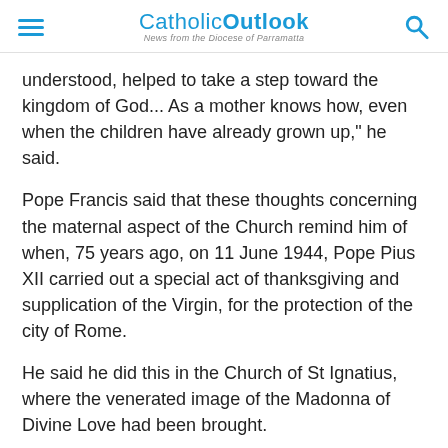CatholicOutlook — News from the Diocese of Parramatta
understood, helped to take a step toward the kingdom of God... As a mother knows how, even when the children have already grown up," he said.
Pope Francis said that these thoughts concerning the maternal aspect of the Church remind him of when, 75 years ago, on 11 June 1944, Pope Pius XII carried out a special act of thanksgiving and supplication of the Virgin, for the protection of the city of Rome.
He said he did this in the Church of St Ignatius, where the venerated image of the Madonna of Divine Love had been brought.